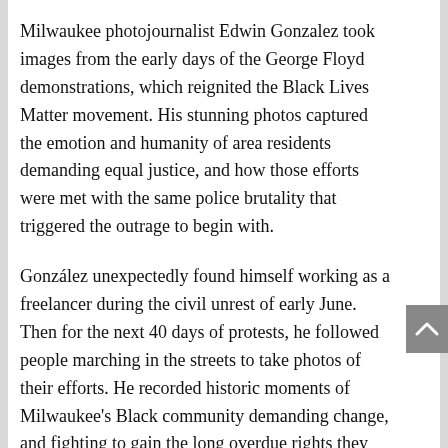Milwaukee photojournalist Edwin Gonzalez took images from the early days of the George Floyd demonstrations, which reignited the Black Lives Matter movement. His stunning photos captured the emotion and humanity of area residents demanding equal justice, and how those efforts were met with the same police brutality that triggered the outrage to begin with.
González unexpectedly found himself working as a freelancer during the civil unrest of early June. Then for the next 40 days of protests, he followed people marching in the streets to take photos of their efforts. He recorded historic moments of Milwaukee's Black community demanding change, and fighting to gain the long overdue rights they had been promised. His images preserved those intimate conditions.
“One of my most memorable experiences covering the protests here in Milwaukee was the day when Police